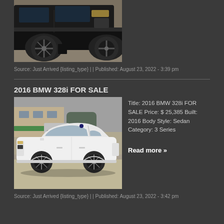[Figure (photo): Close-up of a black SUV (BMW X series) showing the lower front wheel area and side, parked on pavement]
Source: Just Arrived {listing_type} | | Published: August 23, 2022 - 3:39 pm
2016 BMW 328i FOR SALE
[Figure (photo): White 2016 BMW 328i sedan parked in a lot, side profile view]
Title: 2016 BMW 328i FOR SALE Price: $ 25,385 Built: 2016 Body Style: Sedan Category: 3 Series Read more »
Source: Just Arrived {listing_type} | | Published: August 23, 2022 - 3:42 pm